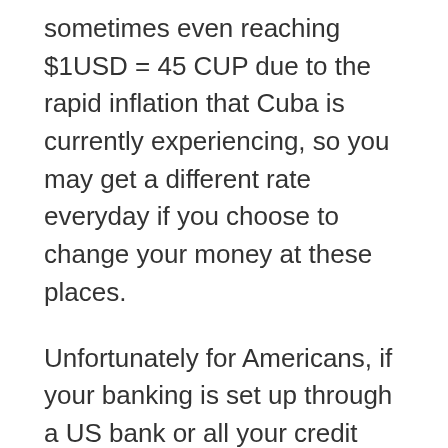sometimes even reaching $1USD = 45 CUP due to the rapid inflation that Cuba is currently experiencing, so you may get a different rate everyday if you choose to change your money at these places.
Unfortunately for Americans, if your banking is set up through a US bank or all your credit cards are issued in the US then you won't be able to use your cards at all in Cuba, this is because of the US sanctions placed on Cuba.
So in this case, you'll need to bring all the cash